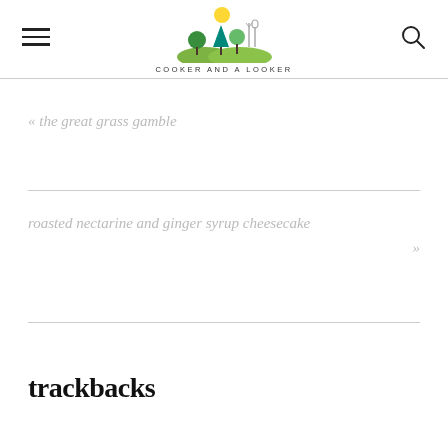COOKER AND A LOOKER
« the great grass gamble
roasted nectarine and ginger syrup cheesecake »
trackbacks